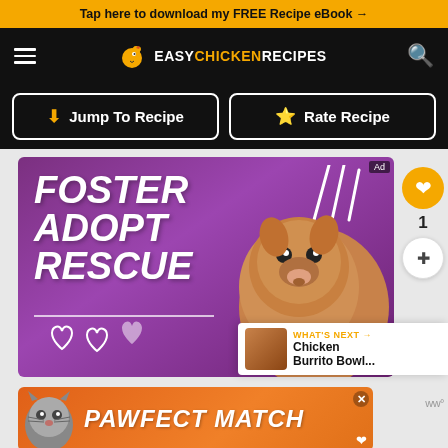Tap here to download my FREE Recipe eBook →
[Figure (logo): Easy Chicken Recipes site header with hamburger menu, chicken logo, site name, and search icon]
[Figure (infographic): Jump To Recipe and Rate Recipe action buttons]
[Figure (infographic): Foster Adopt Rescue pet adoption advertisement with purple background and dog photo]
[Figure (infographic): Pawfect Match advertisement with orange background and cat photo]
WHAT'S NEXT → Chicken Burrito Bowl...
1